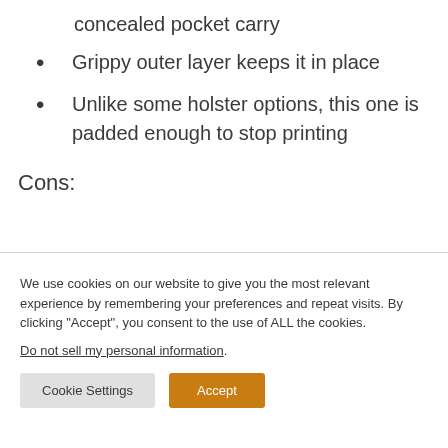concealed pocket carry
Grippy outer layer keeps it in place
Unlike some holster options, this one is padded enough to stop printing
Cons:
We use cookies on our website to give you the most relevant experience by remembering your preferences and repeat visits. By clicking “Accept”, you consent to the use of ALL the cookies. Do not sell my personal information.